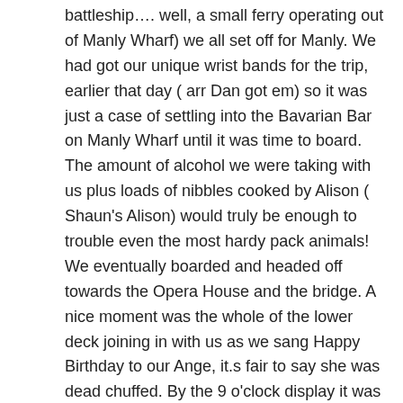battleship…. well, a small ferry operating out of Manly Wharf) we all set off for Manly. We had got our unique wrist bands for the trip, earlier that day ( arr Dan got em) so it was just a case of settling into the Bavarian Bar on Manly Wharf until it was time to board. The amount of alcohol we were taking with us plus loads of nibbles cooked by Alison ( Shaun's Alison) would truly be enough to trouble even the most hardy pack animals! We eventually boarded and headed off towards the Opera House and the bridge. A nice moment was the whole of the lower deck joining in with us as we sang Happy Birthday to our Ange, it.s fair to say she was dead chuffed. By the 9 o'clock display it was fair to say that we were all tipsy and as the midnight/ New Years fireworks started, virtually all of the passengers had hit the dance floor at one time or another.
The fireworks were truly amazing and everyone was in agreement that it had been the best way to see a New Year in…….ever!  (More pics to follow)